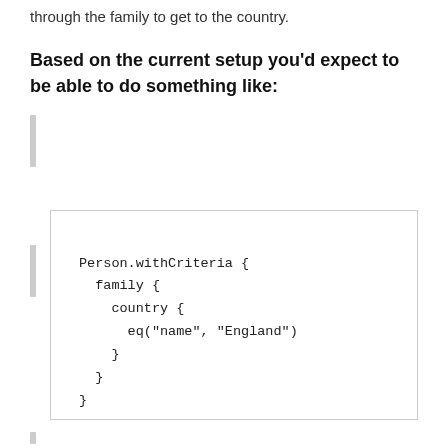through the family to get to the country.
Based on the current setup you'd expect to be able to do something like:
Person.withCriteria {
  family {
    country {
      eq("name", "England")
    }
  }
}